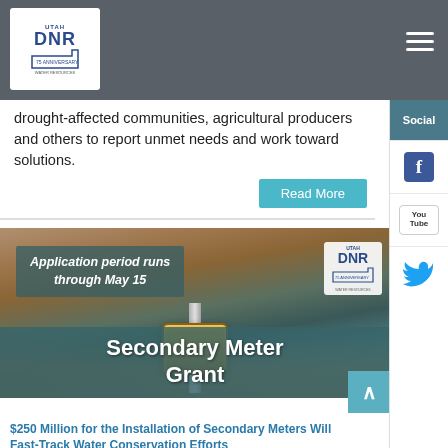Utah DNR navigation bar with logo and hamburger menu
drought-affected communities, agricultural producers and others to report unmet needs and work toward solutions.
Read More
[Figure (photo): Photo of a water meter being installed in dirt ground, with text overlay 'Application period runs through May 15', Utah DNR 75th anniversary logo badge, and large overlay text 'Secondary Meter Grant']
$250 Million for the Installation of Secondary Meters Will Fast-Track Water Conservation Efforts